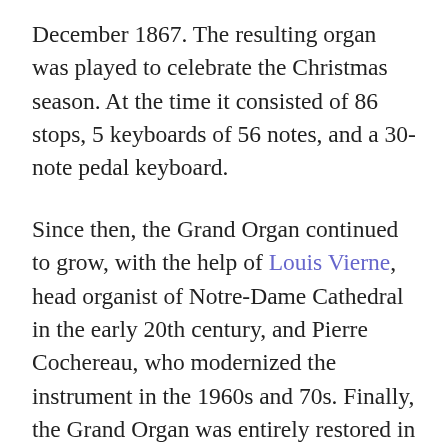December 1867. The resulting organ was played to celebrate the Christmas season. At the time it consisted of 86 stops, 5 keyboards of 56 notes, and a 30-note pedal keyboard.
Since then, the Grand Organ continued to grow, with the help of Louis Vierne, head organist of Notre-Dame Cathedral in the early 20th century, and Pierre Cochereau, who modernized the instrument in the 1960s and 70s. Finally, the Grand Organ was entirely restored in 1992 and then underwent the most recent 21st century renovations from September 2011 to December 2012, and